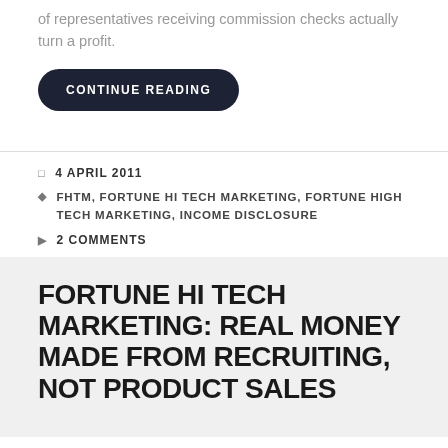of representatives receiving commission checks actually turn a profit.
CONTINUE READING
4 APRIL 2011
FHTM, FORTUNE HI TECH MARKETING, FORTUNE HIGH TECH MARKETING, INCOME DISCLOSURE
2 COMMENTS
FORTUNE HI TECH MARKETING: REAL MONEY MADE FROM RECRUITING, NOT PRODUCT SALES